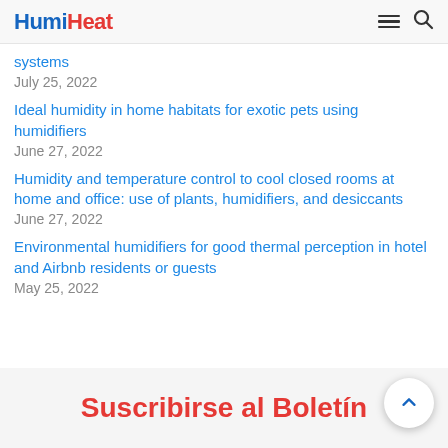HumiHeat
systems
July 25, 2022
Ideal humidity in home habitats for exotic pets using humidifiers
June 27, 2022
Humidity and temperature control to cool closed rooms at home and office: use of plants, humidifiers, and desiccants
June 27, 2022
Environmental humidifiers for good thermal perception in hotel and Airbnb residents or guests
May 25, 2022
Suscribirse al Boletín